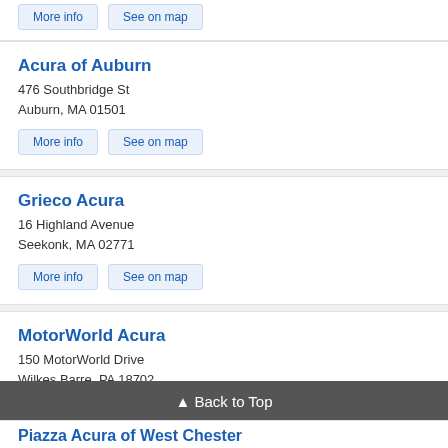More info | See on map (top strip buttons)
Acura of Auburn
476 Southbridge St
Auburn, MA 01501
More info | See on map
Grieco Acura
16 Highland Avenue
Seekonk, MA 02771
More info | See on map
MotorWorld Acura
150 MotorWorld Drive
Wilkes Barre, PA 18702
More info | See on map
▲ Back to Top
Piazza Acura of West Chester